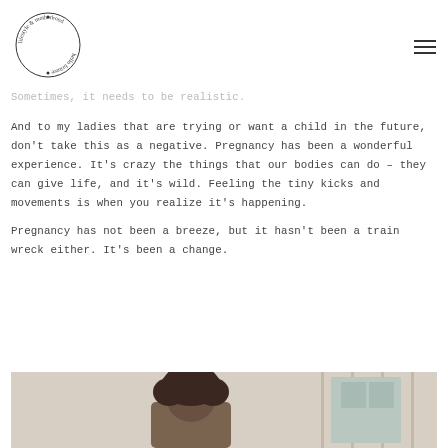[Figure (logo): Circular logo reading 'hello britnee • lifestyle & motherhood •' around the edge]
Sometimes, it needs to be realistic.
And to my ladies that are trying or want a child in the future, don't take this as a negative. Pregnancy has been a wonderful experience. It's crazy the things that our bodies can do – they can give life, and it's wild. Feeling the tiny kicks and movements is when you realize it's happening.
Pregnancy has not been a breeze, but it hasn't been a train wreck either. It's been a change.
[Figure (photo): Person with curly hair photographed from behind or side, near what appears to be white siding or shutters]